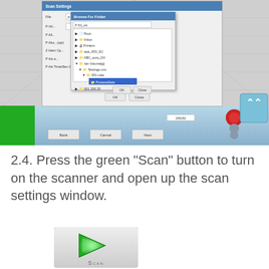[Figure (screenshot): A Windows dialog screenshot showing a file browser/folder selection dialog with a nested browse folder dialog open on top. The interface shows a scan settings dialog with file path fields and checkboxes. A blue/teal taskbar is at the bottom with a green panel on the left side. A scroll-up arrow button appears on the right side.]
2.4. Press the green "Scan" button to turn on the scanner and open up the scan settings window.
[Figure (screenshot): A green play button (triangle) icon with the label SCAN beneath it, displayed on a light gray rounded rectangle background.]